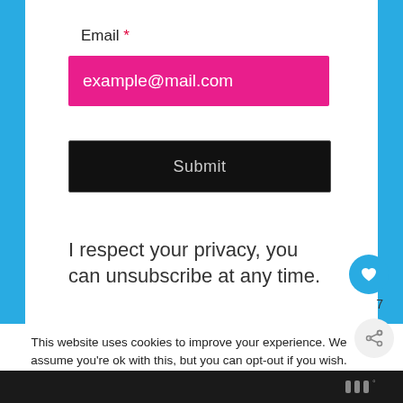Email *
[Figure (screenshot): Pink/magenta email input field showing placeholder text 'example@mail.com' in white on a hot pink background]
[Figure (screenshot): Black submit button with text 'Submit' in light gray]
I respect your privacy, you can unsubscribe at any time.
This website uses cookies to improve your experience. We assume you're ok with this, but you can opt-out if you wish.